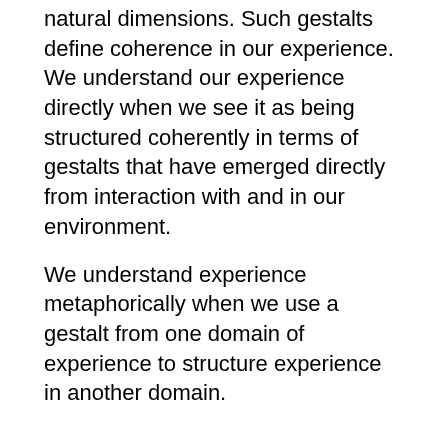natural dimensions. Such gestalts define coherence in our experience. We understand our experience directly when we see it as being structured coherently in terms of gestalts that have emerged directly from interaction with and in our environment.
We understand experience metaphorically when we use a gestalt from one domain of experience to structure experience in another domain.
Structuring Love:
As we will show, LOVE is not a concept that has a clearly delineated structure; whatever structure it has it gets only via metaphors. The different metaphors structure different aspects of love; for example, LOVE IS A JOURNEY, LOVE IS WAR, LOVE IS A PHYSICAL